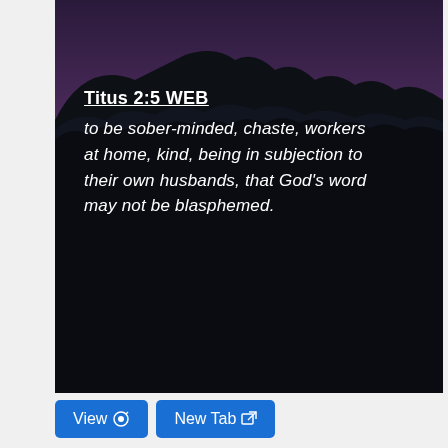[Figure (photo): A dark night/dusk landscape photo with silhouetted mountain forest treeline against a purple-pink twilight sky, serving as background for a Bible verse overlay.]
Titus 2:5 WEB
to be sober-minded, chaste, workers at home, kind, being in subjection to their own husbands, that God's word may not be blasphemed.
View  New Tab